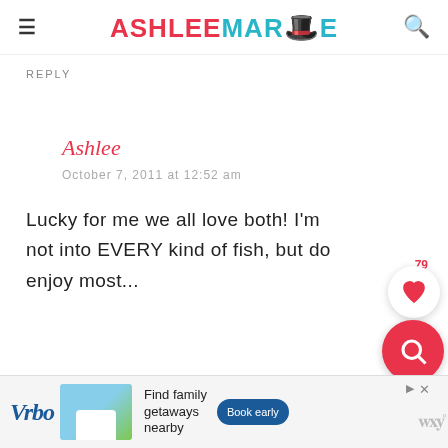ASHLEE MARIE
REPLY
Ashlee
October 7, 2011 at 12:52 am
Lucky for me we all love both! I'm not into EVERY kind of fish, but do enjoy most...
[Figure (other): Vrbo advertisement banner with 'Find family getaways nearby' text and Book early button]
Vrbo advertisement